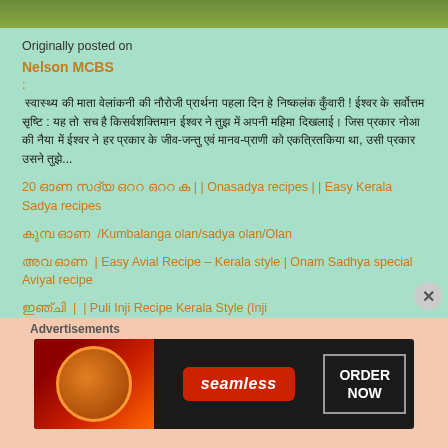[Figure (photo): Top cropped image showing greenery/outdoor scene]
Originally posted on
Nelson MCBS
:
स्वास्थ्य की माता वेलांकनी की नौरोजी प्रार्थना पहला दिन हे निष्कलंक कुँवारी ! ईश्वर के सर्वोत्तम सृष्टि : यह तो सच है किसर्वशक्तिमान ईश्वर ने तुझ में अपनी महिमा दिखलाई। जिस प्रकार नोआ की नैया में ईश्वर ने हर प्रकार के जीव-जन्तु एवं मानव-प्राणी को एकत्रितकिया था, उसी प्रकार उसने तुझे...
20 ഓണ​ സദ്യ ഒററ ഒററ ക​​​​ | | Onasadya recipes || Easy Kerala Sadya recipes
കുമ്പ ഓണ ​​​​ /Kumbalanga olan/sadya olan/Olan
അവ​ ഓണ​ ​​ | Easy Avial Recipe – Kerala style | Onam Sadhya special Aviyal recipe
ഇഞ്ചി ​​​ | ​ | Puli Inji Recipe Kerala Style (Inji
Advertisements
[Figure (screenshot): Seamless food delivery advertisement banner with pizza image and ORDER NOW button]